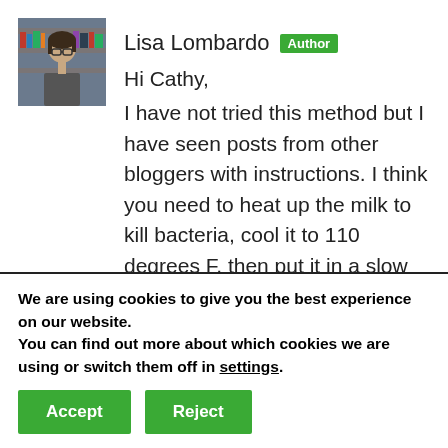[Figure (photo): Profile photo of Lisa Lombardo, a woman with glasses and dark hair, in front of a bookshelf.]
Lisa Lombardo Author
Hi Cathy,
I have not tried this method but I have seen posts from other bloggers with instructions. I think you need to heat up the milk to kill bacteria, cool it to 110 degrees F, then put it in a slow cooker on the warm setting, then leave for 12 hours. It is a good idea to find out first what temp your
We are using cookies to give you the best experience on our website.
You can find out more about which cookies we are using or switch them off in settings.
Accept
Reject